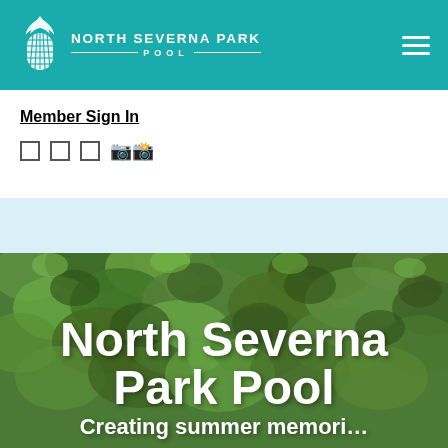North Severna Park Pool
Member Sign In
[Figure (screenshot): Social media / icon row with small square icons and replacement character boxes]
[Figure (photo): Aerial view of green foliage/treetops forming the hero background image]
North Severna Park Pool
Creating summer memori…